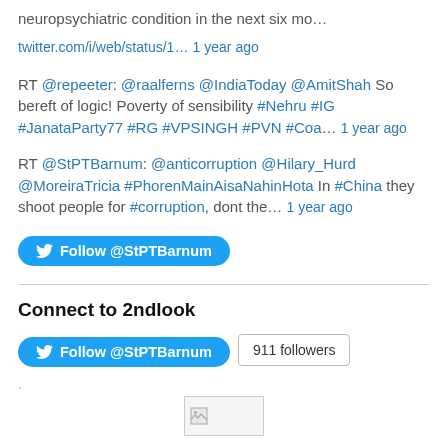neuropsychiatric condition in the next six mo…
twitter.com/i/web/status/1… 1 year ago
RT @repeeter: @raalferns @IndiaToday @AmitShah So bereft of logic! Poverty of sensibility #Nehru #IG #JanataParty77 #RG #VPSINGH #PVN #Coa… 1 year ago
RT @StPTBarnum: @anticorruption @Hilary_Hurd @MoreiraTricia #PhorenMainAisaNahinHota In #China they shoot people for #corruption, dont the… 1 year ago
[Figure (other): Follow @StPTBarnum Twitter button]
Connect to 2ndlook
[Figure (other): Follow @StPTBarnum Twitter button and 911 followers badge]
.
[Figure (other): Broken image placeholder]